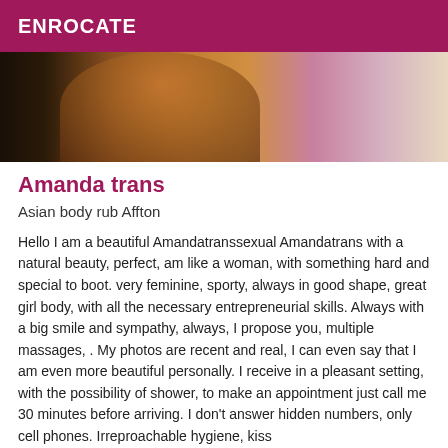ENROCATE
[Figure (photo): Photo of a person, cropped, warm orange and purple background tones]
Amanda trans
Asian body rub Affton
Hello I am a beautiful Amandatranssexual Amandatrans with a natural beauty, perfect, am like a woman, with something hard and special to boot. very feminine, sporty, always in good shape, great girl body, with all the necessary entrepreneurial skills. Always with a big smile and sympathy, always, I propose you, multiple massages, . My photos are recent and real, I can even say that I am even more beautiful personally. I receive in a pleasant setting, with the possibility of shower, to make an appointment just call me 30 minutes before arriving. I don't answer hidden numbers, only cell phones. Irreproachable hygiene, kiss